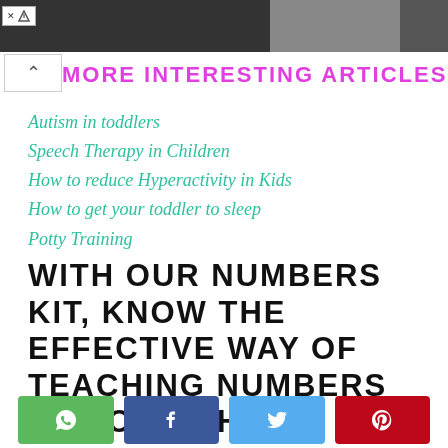[Figure (photo): Website header with photos of people, partially dark/cropped at top of page, with ad close button overlay]
MORE INTERESTING ARTICLES
Autism in toddlers
Speech Therapy in Children
How to reduce Hyperactivity in Kids
How to get your toddler to sleep
Potty Training
WITH OUR NUMBERS KIT, KNOW THE EFFECTIVE WAY OF TEACHING NUMBERS TO YOUR CHILD
[Figure (infographic): Social share buttons: WhatsApp (green), Facebook (blue), Twitter (light blue), Pinterest (red)]